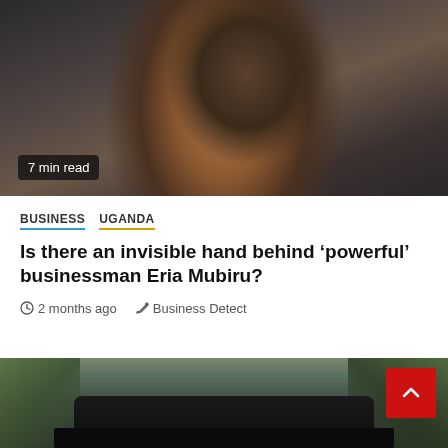[Figure (photo): Close-up portrait photo of a young African man with a short beard, wearing a dark blue jacket, against a background with architectural columns. A badge in the lower left reads '7 min read'.]
7 min read
BUSINESS   UGANDA
Is there an invisible hand behind ‘powerful’ businessman Eria Mubiru?
2 months ago   Business Detect
[Figure (photo): Photo of a large black SUV parked in a tree-lined area with palm trees visible in the background.]